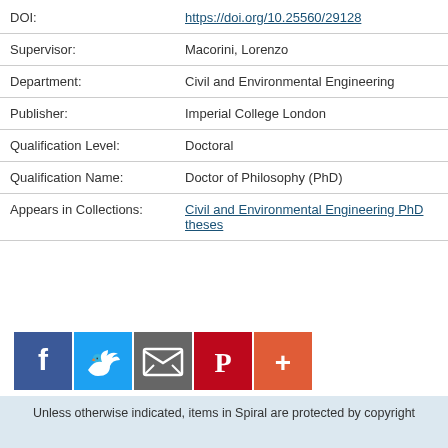| Field | Value |
| --- | --- |
| DOI: | https://doi.org/10.25560/29128 |
| Supervisor: | Macorini, Lorenzo |
| Department: | Civil and Environmental Engineering |
| Publisher: | Imperial College London |
| Qualification Level: | Doctoral |
| Qualification Name: | Doctor of Philosophy (PhD) |
| Appears in Collections: | Civil and Environmental Engineering PhD theses |
[Figure (other): Social sharing buttons: Facebook (blue), Twitter (light blue), Email (grey), Pinterest (red), More (orange-red)]
Unless otherwise indicated, items in Spiral are protected by copyright